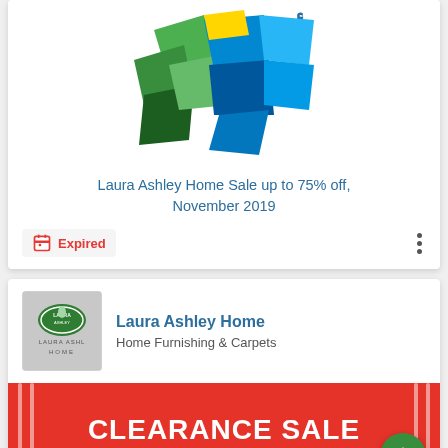[Figure (logo): Colorful geometric logo with Arabic text - green, blue, yellow polygon shapes]
Laura Ashley Home Sale up to 75% off, November 2019
Expired
[Figure (logo): Laura Ashley Home brand logo on grey background]
Laura Ashley Home
Home Furnishing & Carpets
[Figure (illustration): Red clearance sale banner with white stripe decorations and CLEARANCE SALE text]